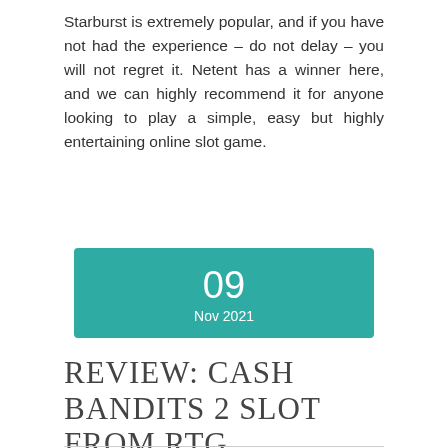Starburst is extremely popular, and if you have not had the experience – do not delay – you will not regret it. Netent has a winner here, and we can highly recommend it for anyone looking to play a simple, easy but highly entertaining online slot game.
09 Nov 2021
REVIEW: CASH BANDITS 2 SLOT FROM RTG